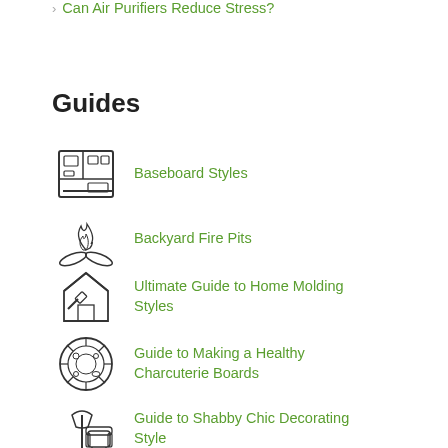Can Air Purifiers Reduce Stress?
Guides
Baseboard Styles
Backyard Fire Pits
Ultimate Guide to Home Molding Styles
Guide to Making a Healthy Charcuterie Boards
Guide to Shabby Chic Decorating Style